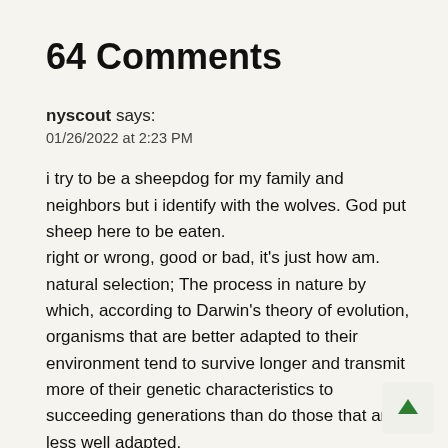64 Comments
nyscout says:
01/26/2022 at 2:23 PM

i try to be a sheepdog for my family and neighbors but i identify with the wolves. God put sheep here to be eaten.
right or wrong, good or bad, it’s just how am.
natural selection; The process in nature by which, according to Darwin’s theory of evolution, organisms that are better adapted to their environment tend to survive longer and transmit more of their genetic characteristics to succeeding generations than do those that are less well adapted.